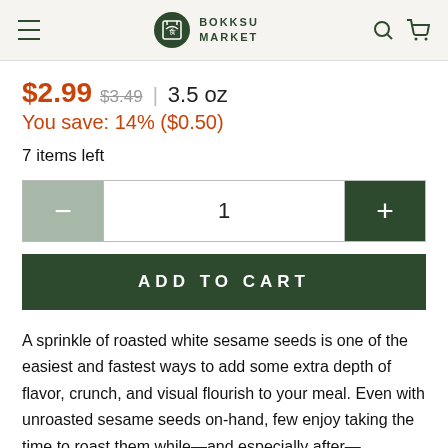BOKKSU MARKET
$2.99 $3.49 | 3.5 oz
You save: 14% ($0.50)
7 items left
1
ADD TO CART
A sprinkle of roasted white sesame seeds is one of the easiest and fastest ways to add some extra depth of flavor, crunch, and visual flourish to your meal. Even with unroasted sesame seeds on-hand, few enjoy taking the time to roast them while—and especially after—